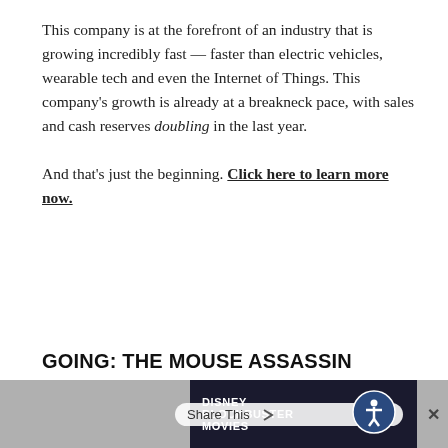This company is at the forefront of an industry that is growing incredibly fast — faster than electric vehicles, wearable tech and even the Internet of Things. This company's growth is already at a breakneck pace, with sales and cash reserves doubling in the last year.

And that's just the beginning. Click here to learn more now.
[Figure (other): Black banner with monospaced white text reading 'GOING, GOING...' and orange text 'GONE!' with a grey scroll-up arrow on the right. Above the banner is the label 'GREAT STUFF'S' in grey and orange.]
GOING: THE MOUSE ASSASSIN
[Figure (other): Footer bar with grey background. Disney Blockbuster Movies advertisement on the right. Share This overlay button and X close button. Accessibility icon (person in circle) on far right.]